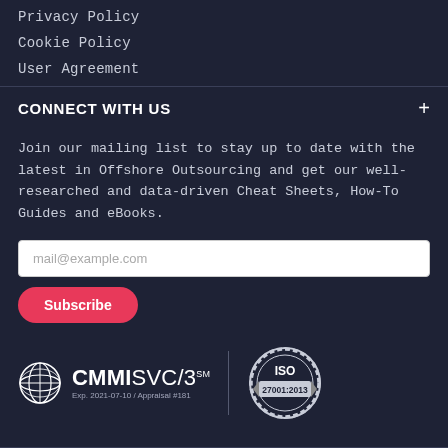Privacy Policy
Cookie Policy
User Agreement
CONNECT WITH US
Join our mailing list to stay up to date with the latest in Offshore Outsourcing and get our well-researched and data-driven Cheat Sheets, How-To Guides and eBooks.
[Figure (other): Email subscription input field with placeholder text mail@example.com and a pink Subscribe button]
[Figure (logo): CMMI SVC/3 SM certification badge with globe logo and Exp. 2021-07-10 / Appraisal #181. ISO 27001:2013 certification badge.]